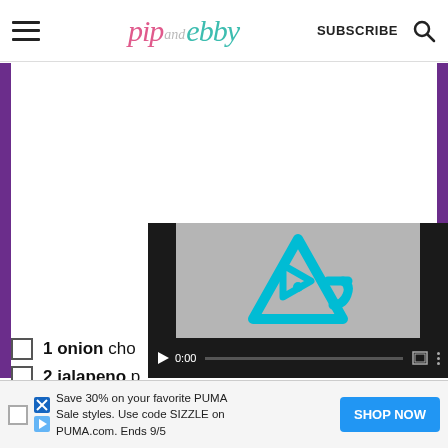pip and ebby — SUBSCRIBE
[Figure (screenshot): White content area with purple side bars, recipe ingredient list items with checkboxes, and an embedded video player showing a cyan play button icon at 0:00]
1 onion cho...
2 jalapeno p...
[Figure (screenshot): Advertisement banner: Save 30% on your favorite PUMA Sale styles. Use code SIZZLE on PUMA.com. Ends 9/5 — SHOP NOW button]